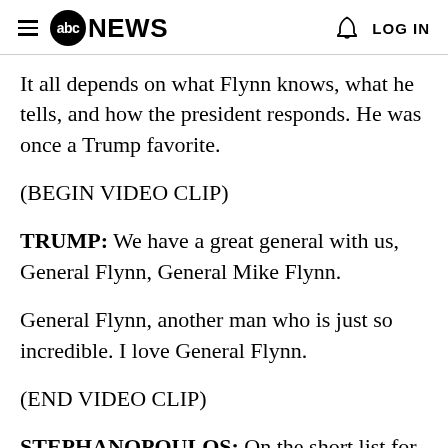abc NEWS  LOG IN
It all depends on what Flynn knows, what he tells, and how the president responds. He was once a Trump favorite.
(BEGIN VIDEO CLIP)
TRUMP: We have a great general with us, General Flynn, General Mike Flynn.
General Flynn, another man who is just so incredible. I love General Flynn.
(END VIDEO CLIP)
STEPHANOPOULOS: On the short list for vice